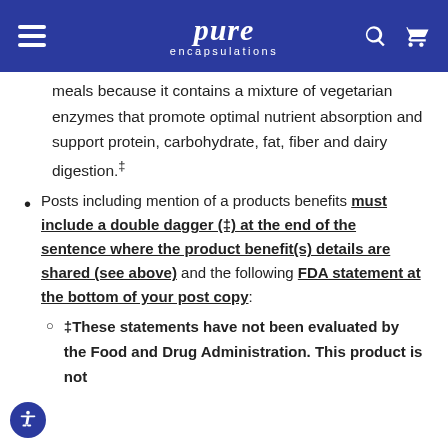pure encapsulations
meals because it contains a mixture of vegetarian enzymes that promote optimal nutrient absorption and support protein, carbohydrate, fat, fiber and dairy digestion.‡
Posts including mention of a products benefits must include a double dagger (‡) at the end of the sentence where the product benefit(s) details are shared (see above) and the following FDA statement at the bottom of your post copy:
‡These statements have not been evaluated by the Food and Drug Administration. This product is not